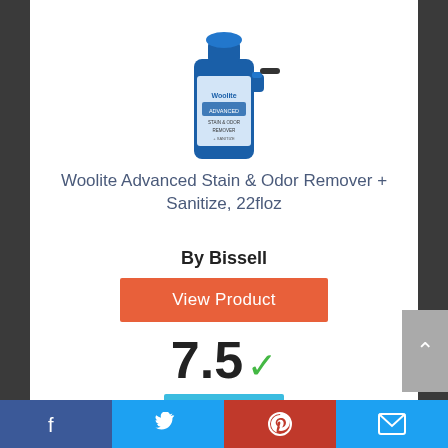[Figure (photo): Woolite Advanced Stain & Odor Remover + Sanitize spray bottle product image]
Woolite Advanced Stain & Odor Remover + Sanitize, 22floz
By Bissell
View Product
7.5 Score